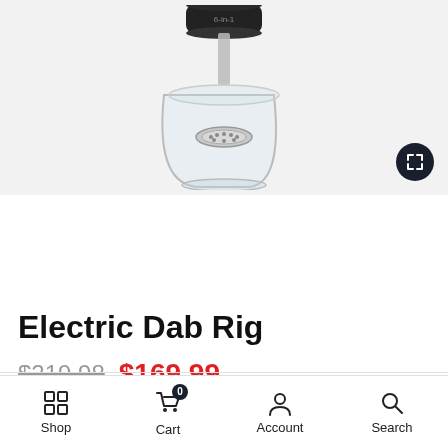[Figure (photo): Electric dab rig product photo showing a glass base with a clear cylindrical chamber, metallic heating element in the center, and a dark cylindrical top cap. Background is light gray. An expand/fullscreen button is in the bottom-right corner of the image area.]
Electric Dab Rig
$219.98  $169.99
Shop  Cart  Account  Search